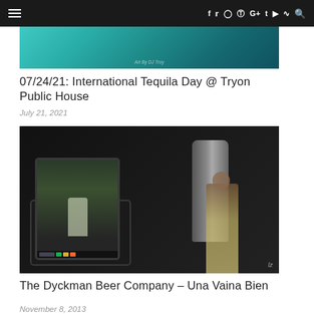Navigation bar with hamburger menu and social icons: f, Twitter, Instagram, Pinterest, G+, Tumblr, YouTube, RSS, Search
[Figure (photo): Teal/green colored photo with watermark text 'Art By DJ Troy']
07/24/21: International Tequila Day @ Tryon Public House
July 21, 2021
[Figure (photo): Behind-the-scenes photo showing a camera monitor/screen in foreground with a person in a yellow shirt and large brewing tanks in the background, in a dark brewery setting. Watermark 'lz' in bottom right.]
The Dyckman Beer Company – Una Vaina Bien
November 8, 2013